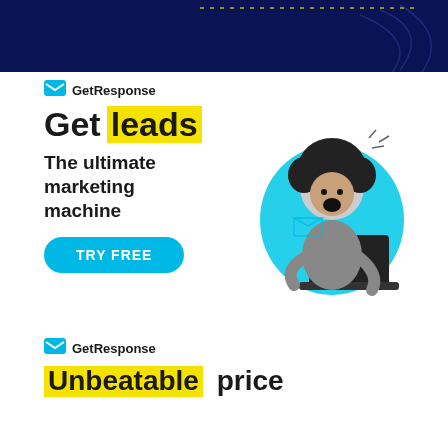[Figure (illustration): Dark navy blue banner at top with decorative dotted arc pattern and geometric circle lines]
[Figure (infographic): GetResponse advertisement featuring logo, 'Get leads' headline with yellow highlight, 'The ultimate marketing machine' tagline, TRY FREE button, and image of excited woman with laptop]
[Figure (infographic): GetResponse advertisement featuring logo and 'Unbeatable price' headline with yellow highlight on 'Unbeatable']